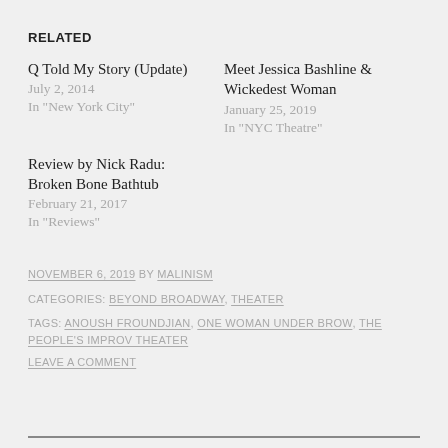RELATED
Q Told My Story (Update)
July 2, 2014
In "New York City"
Meet Jessica Bashline & Wickedest Woman
January 25, 2019
In "NYC Theatre"
Review by Nick Radu: Broken Bone Bathtub
February 21, 2017
In "Reviews"
NOVEMBER 6, 2019 BY MALINISM
CATEGORIES: BEYOND BROADWAY, THEATER
TAGS: ANOUSH FROUNDJIAN, ONE WOMAN UNDER BROW, THE PEOPLE'S IMPROV THEATER
LEAVE A COMMENT